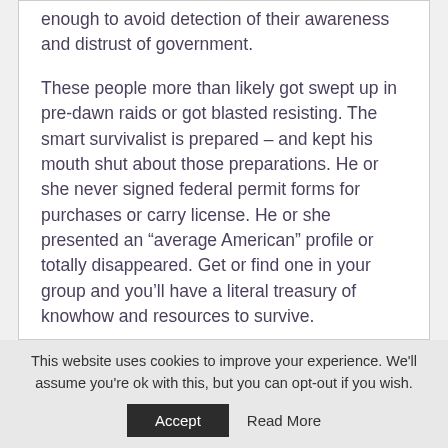enough to avoid detection of their awareness and distrust of government.
These people more than likely got swept up in pre-dawn raids or got blasted resisting. The smart survivalist is prepared – and kept his mouth shut about those preparations. He or she never signed federal permit forms for purchases or carry license. He or she presented an “average American” profile or totally disappeared. Get or find one in your group and you’ll have a literal treasury of knowhow and resources to survive.
This website uses cookies to improve your experience. We'll assume you're ok with this, but you can opt-out if you wish.